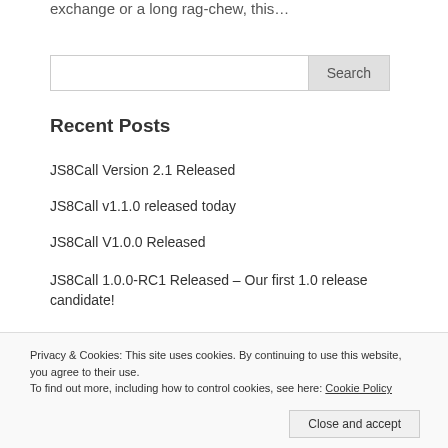exchange or a long rag-chew, this…
Recent Posts
JS8Call Version 2.1 Released
JS8Call v1.1.0 released today
JS8Call V1.0.0 Released
JS8Call 1.0.0-RC1 Released – Our first 1.0 release candidate!
Privacy & Cookies: This site uses cookies. By continuing to use this website, you agree to their use.
To find out more, including how to control cookies, see here: Cookie Policy